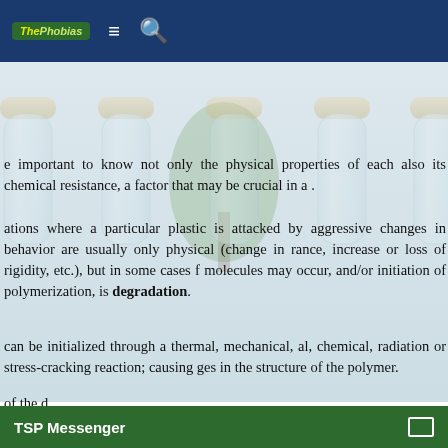ThePhobias [logo] ≡ 🔍
[Figure (photo): Background image of multiple clear plastic water bottles with beige caps arranged in a row, with a tree visible through the bottles, set against a light background.]
e important to know not only the physical properties of each also its chemical resistance, a factor that may be crucial in a .
ations where a particular plastic is attacked by aggressive changes in behavior are usually only physical (change in rance, increase or loss of rigidity, etc.), but in some cases f molecules may occur, and/or initiation of polymerization, is degradation.
can be initialized through a thermal, mechanical, al, chemical, radiation or stress-cracking reaction; causing ges in the structure of the polymer.
of the d
TSP Messenger